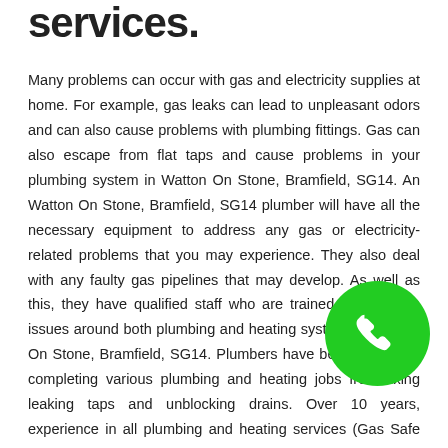services.
Many problems can occur with gas and electricity supplies at home. For example, gas leaks can lead to unpleasant odors and can also cause problems with plumbing fittings. Gas can also escape from flat taps and cause problems in your plumbing system in Watton On Stone, Bramfield, SG14. An Watton On Stone, Bramfield, SG14 plumber will have all the necessary equipment to address any gas or electricity-related problems that you may experience. They also deal with any faulty gas pipelines that may develop. As well as this, they have qualified staff who are trained to deal with issues around both plumbing and heating systems in Watton On Stone, Bramfield, SG14. Plumbers have been very busy completing various plumbing and heating jobs from fixing leaking taps and unblocking drains. Over 10 years, experience in all plumbing and heating services (Gas Safe Registered) including gas boiler breakdowns and g.
If your gas appliances stop working then it is impera you call in a plumber. Yes, we do offer an emergency plumbing and